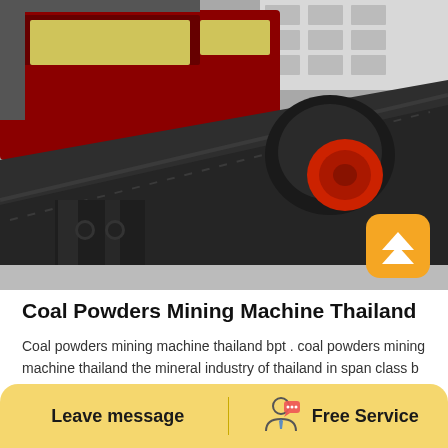[Figure (photo): Industrial coal mining vibrating screen machine in dark grey/black metal, with red motor and yellow structural components, photographed outdoors in a factory yard]
Coal Powders Mining Machine Thailand
Coal powders mining machine thailand bpt . coal powders mining machine thailand the mineral industry of thailand in span class b from the lignite mines in germany to the powder river basin mines in the western
Leave message   Free Service